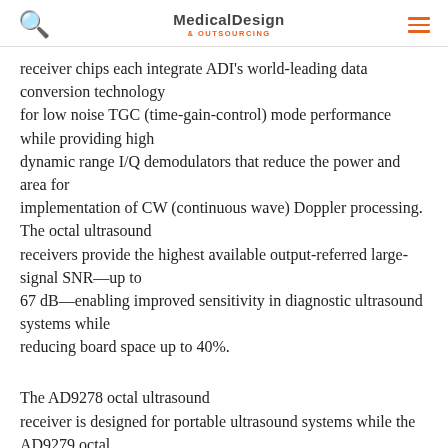Medical Design & Outsourcing
receiver chips each integrate ADI's world-leading data conversion technology for low noise TGC (time-gain-control) mode performance while providing high dynamic range I/Q demodulators that reduce the power and area for implementation of CW (continuous wave) Doppler processing. The octal ultrasound receivers provide the highest available output-referred large-signal SNR—up to 67 dB—enabling improved sensitivity in diagnostic ultrasound systems while reducing board space up to 40%.
The AD9278 octal ultrasound receiver is designed for portable ultrasound systems while the AD9279 octal